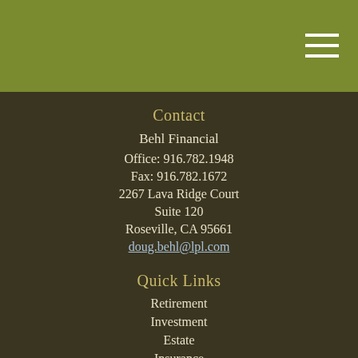Contact
Behl Financial
Office: 916.782.1948
Fax: 916.782.1672
2267 Lava Ridge Court
Suite 120
Roseville, CA 95661
doug.behl@lpl.com
Quick Links
Retirement
Investment
Estate
Insurance
Tax
Money
Lifestyle
All Articles